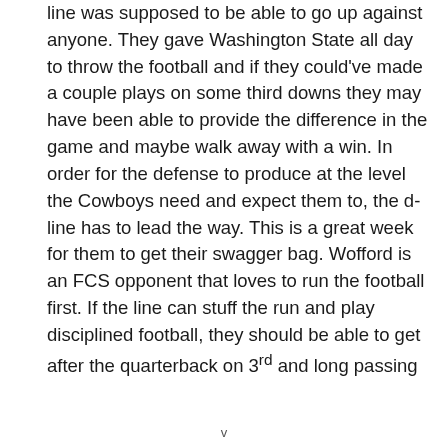line was supposed to be able to go up against anyone. They gave Washington State all day to throw the football and if they could've made a couple plays on some third downs they may have been able to provide the difference in the game and maybe walk away with a win. In order for the defense to produce at the level the Cowboys need and expect them to, the d-line has to lead the way. This is a great week for them to get their swagger bag. Wofford is an FCS opponent that loves to run the football first. If the line can stuff the run and play disciplined football, they should be able to get after the quarterback on 3rd and long passing
v